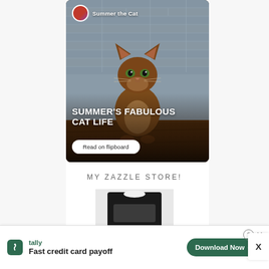[Figure (photo): Flipboard promotional card showing a brown/tawny long-haired cat sitting upright against a gray brick wall background. Header shows 'Summer the Cat' with avatar. Bold white text reads 'SUMMER'S FABULOUS CAT LIFE'. White rounded button reads 'Read on flipboard'.]
MY ZAZZLE STORE!
[Figure (photo): Partial view of a person wearing a black t-shirt, likely a Zazzle merchandise preview.]
[Figure (infographic): Bottom advertisement banner for Tally app. Shows Tally logo (green square with leaf icon), text 'Fast credit card payoff', and green 'Download Now' button with arrow. Help and close icons in top right.]